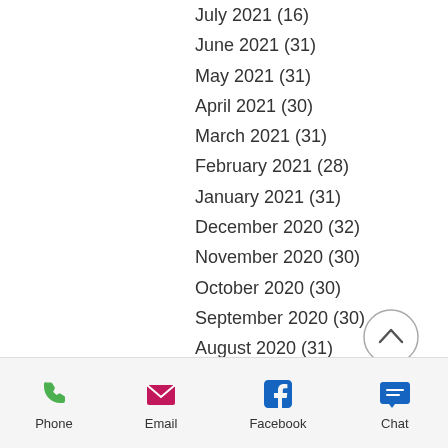July 2021 (16)
June 2021 (31)
May 2021 (31)
April 2021 (30)
March 2021 (31)
February 2021 (28)
January 2021 (31)
December 2020 (32)
November 2020 (30)
October 2020 (30)
September 2020 (30)
August 2020 (31)
July 2020 (31)
June 2020 (31)
May 2020 (32)
April 2020 (32)
March 2020 (32)
February 2020 (29)
January 2020 (31)
Phone  Email  Facebook  Chat